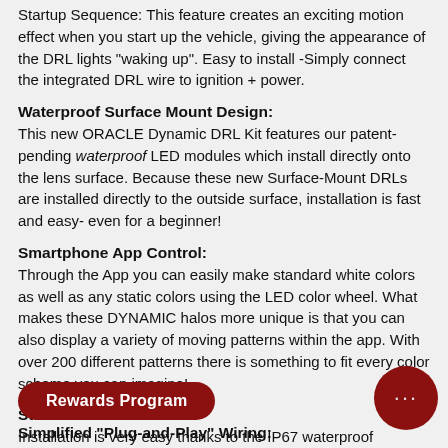Startup Sequence: This feature creates an exciting motion effect when you start up the vehicle, giving the appearance of the DRL lights "waking up". Easy to install -Simply connect the integrated DRL wire to ignition + power.
Waterproof Surface Mount Design:
This new ORACLE Dynamic DRL Kit features our patent-pending waterproof LED modules which install directly onto the lens surface. Because these new Surface-Mount DRLs are installed directly to the outside surface, installation is fast and easy- even for a beginner!
Smartphone App Control:
Through the App you can easily make standard white colors as well as any static colors using the LED color wheel. What makes these DYNAMIC halos more unique is that you can also display a variety of moving patterns within the app. With over 200 different patterns there is something to fit every color scheme you can imagine!
Streamlined Installation:
Installation is very easy thanks to the IP67 waterproof characteristics of the Halos, these LEDs are completely encapsulated in a waterproof resin which makes them completely waterproof and allows them to be installed on the outside of the lens. This makes installation easy even for a beg...
Rewards Program
Simplified "Plug-and-Play" Wiring: